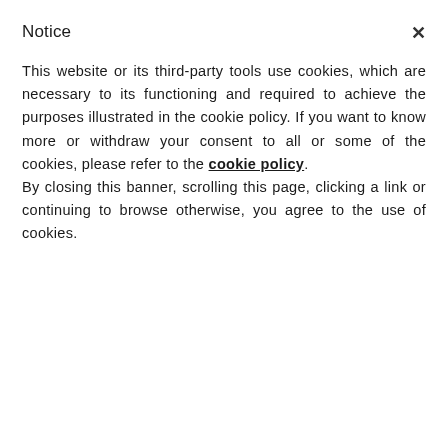Notice
This website or its third-party tools use cookies, which are necessary to its functioning and required to achieve the purposes illustrated in the cookie policy. If you want to know more or withdraw your consent to all or some of the cookies, please refer to the cookie policy. By closing this banner, scrolling this page, clicking a link or continuing to browse otherwise, you agree to the use of cookies.
annually.
As we've said before, we urge you to check out Life of a Toothbrush if you're not convinced.